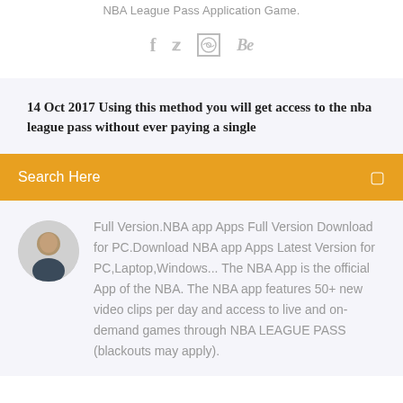NBA League Pass Application Game.
[Figure (other): Social media icons row: Facebook (f), Twitter (bird), Dribbble (circle with stitching), Behance (Be)]
14 Oct 2017 Using this method you will get access to the nba league pass without ever paying a single
Search Here
Full Version.NBA app Apps Full Version Download for PC.Download NBA app Apps Latest Version for PC,Laptop,Windows... The NBA App is the official App of the NBA. The NBA app features 50+ new video clips per day and access to live and on-demand games through NBA LEAGUE PASS (blackouts may apply).